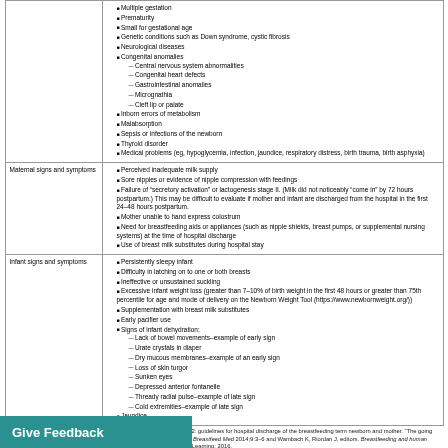| Category | Items |
| --- | --- |
| (continuation) | Multiple gestation; Prematurity; Small for gestational age; Genetic conditions such as Down syndrome, cystic fibrosis; Neurological diseases; Congenital anomalies: Central nervous system abnormalities, Congenital heart defects, Gastrointestinal anomalies, Micrognathia, Cleft lip or palate; Inborn errors of metabolism; Malabsorption; Sepsis or infections of the newborn; Thyroid disorder; Medical problems (eg, hypoglycemia, infection, jaundice, respiratory distress, birth trauma, birth asphyxia) |
| Maternal signs and symptoms | Perceived inadequate milk supply; Sore nipples or evidence of nipple compression with feedings; Failure of 'secretory activation' or lactogenesis stage II. (Milk did not noticeably 'come in' by 72 hours postpartum.) This may be difficult to evaluate if mother and infant are discharged from the hospital in the first 24-48 hours postpartum; Mother unable to hand express colostrum; Need for breastfeeding aids or appliances (such as nipple shields, breast pumps, or supplemental nursing systems) at the time of hospital discharge; Use of breast milk substitutes during hospital stay |
| Infant signs and symptoms | Persistently sleepy infant; Difficulty in latching on to one or both breasts; Ineffective or unsustained suckling; Excessive infant weight loss (greater than 7-10% of birth weight in the first 48 hours or greater than 75th percentile for age and mode of delivery on the Newborn Weight Tool (https://www.newbornweight.org/)); Supplementation with breast milk substitutes; Early pacifier use; Signs of infant dehydration: Lack of bowel movements-example of early sign, Urate crystals in diaper, Dry mucous membranes-example of an early sign, Loss of skin turgor, Sunken eyes, Depressed anterior fontanelle, Thready radial pulse-example of late sign, Cold extremities-example of late sign; Jaundice |
Data from: Evans A, Marinelli KA, Taylor JS. ABM clinical protocol #2: guidelines for hospital discharge of the breastfeeding term newborn and mother. 'The going home protocol,' revised 2014. Academy of Breastfeeding Medicine. Breastfeed Med 2014;9:3–6 and Wambach K, Riordan J, editors. Breastfeeding and human lactation, enhanced fifth edition. Burlington, MA: Jones and Bartlett Learning; 2016.